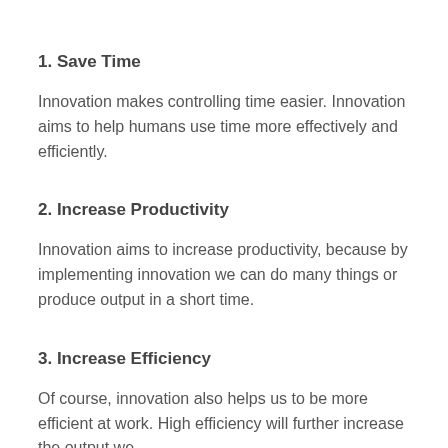1. Save Time
Innovation makes controlling time easier. Innovation aims to help humans use time more effectively and efficiently.
2. Increase Productivity
Innovation aims to increase productivity, because by implementing innovation we can do many things or produce output in a short time.
3. Increase Efficiency
Of course, innovation also helps us to be more efficient at work. High efficiency will further increase the output we